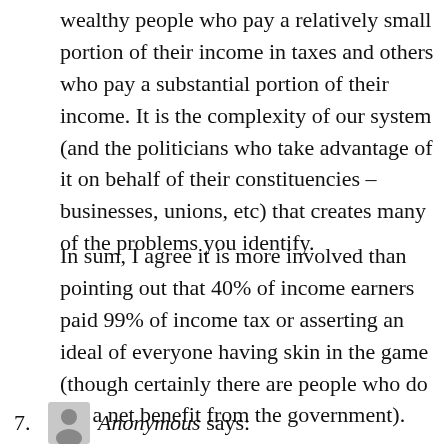wealthy people who pay a relatively small portion of their income in taxes and others who pay a substantial portion of their income. It is the complexity of our system (and the politicians who take advantage of it on behalf of their constituencies – businesses, unions, etc) that creates many of the problems you identify.
In sum, I agree it is more involved than pointing out that 40% of income earners paid 99% of income tax or asserting an ideal of everyone having skin in the game (though certainly there are people who do get a net benefit from the government).
7.  Anonymous says: